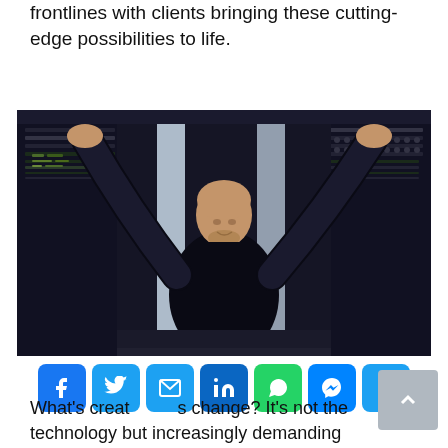frontlines with clients bringing these cutting-edge possibilities to life.
[Figure (photo): A bald man in a black shirt working inside a server rack, arms raised, looking upward in a dark data center environment.]
[Figure (infographic): Social media sharing icons: Facebook, Twitter, Email, LinkedIn, WhatsApp, Messenger, Share Plus button]
What's creating this change? It's not the technology but increasingly demanding customer